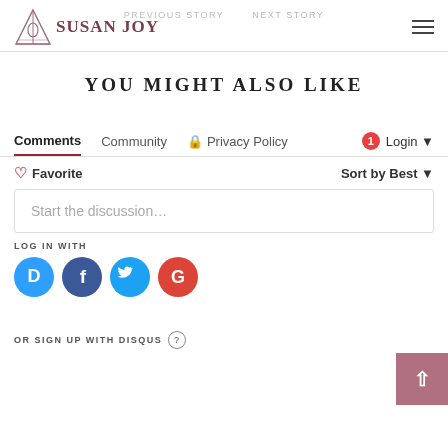PREVIOUS STORY   SUSAN JOY   NEXT STORY
YOU MIGHT ALSO LIKE
Comments   Community   Privacy Policy   Login
Favorite   Sort by Best
Start the discussion…
LOG IN WITH
[Figure (infographic): Social login icons: Disqus (D), Facebook (F), Twitter bird, Google (G) — colored circles]
OR SIGN UP WITH DISQUS ?